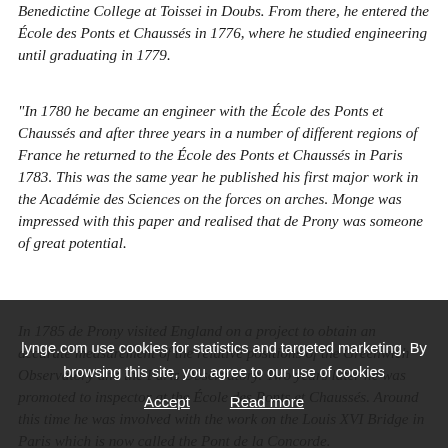Benedictine College at Toissei in Doubs. From there, he entered the École des Ponts et Chaussés in 1776, where he studied engineering until graduating in 1779.
“In 1780 he became an engineer with the École des Ponts et Chaussés and after three years in a number of different regions of France he returned to the École des Ponts et Chaussés in Paris 1783. This was the same year he published his first major work in the Académie des Sciences on the forces on arches. Monge was impressed with this paper and realised that de Prony was someone of great potential.
In 1785 de Prony visited England on a project to obtain an accurate measurement of the relative positions of the Greenwich Observatory and the Paris Observatory. Two years later he was promoted to inspector at the École des Ponts et Chaussés. Around this time he was involved with the work on the Louis XVI Bridge in Paris which is now called the Pont de la Concorde.
Further promotion in 1790 was followed the next year by his being appointed Engineer-in-Chief of the École des Ponts et
lynge.com use cookies for statistics and targeted marketing. By browsing this site, you agree to our use of cookies
Accept    Read more